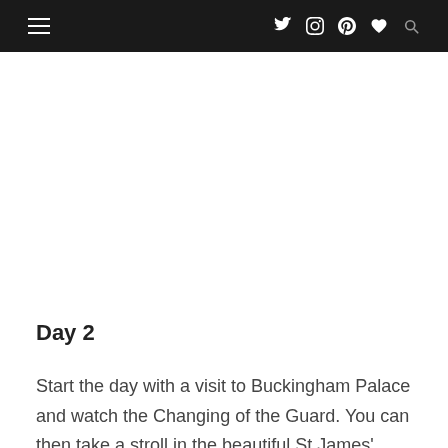☰ menu and social icons: Twitter, Instagram, Pinterest, Favorite, Search
Day 2
Start the day with a visit to Buckingham Palace and watch the Changing of the Guard. You can then take a stroll in the beautiful St James' Park